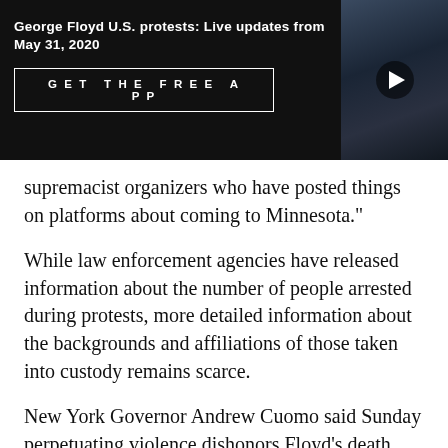George Floyd U.S. protests: Live updates from May 31, 2020
[Figure (photo): Protest photo showing a person with fist raised, dark background]
GET THE FREE APP
supremacist organizers who have posted things on platforms about coming to Minnesota."
While law enforcement agencies have released information about the number of people arrested during protests, more detailed information about the backgrounds and affiliations of those taken into custody remains scarce.
New York Governor Andrew Cuomo said Sunday perpetuating violence dishonors Floyd's death and "creates a scapegoat to shift the blame."